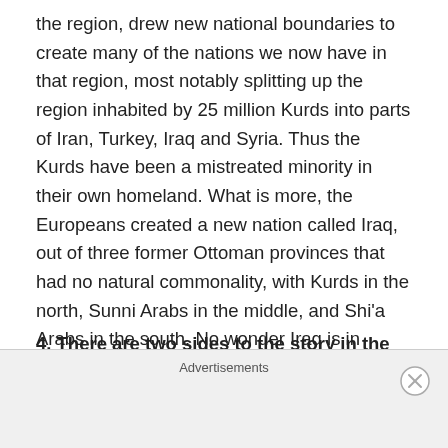the region, drew new national boundaries to create many of the nations we now have in that region, most notably splitting up the region inhabited by 25 million Kurds into parts of Iran, Turkey, Iraq and Syria. Thus the Kurds have been a mistreated minority in their own homeland. What is more, the Europeans created a new nation called Iraq, out of three former Ottoman provinces that had no natural commonality, with Kurds in the north, Sunni Arabs in the middle, and Shi'a Arabs in the south. No wonder Iraq is in constant conflict.
4. There are two sides to the story in the Israeli-Palestinian conflict. Before World War I, the population of Palestine was about 90% Arab. The Ottoman Empire
Advertisements